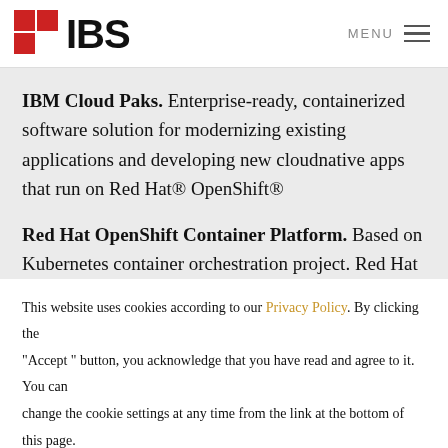IBS — MENU
IBM Cloud Paks. Enterprise-ready, containerized software solution for modernizing existing applications and developing new cloudnative apps that run on Red Hat® OpenShift®
Red Hat OpenShift Container Platform. Based on Kubernetes container orchestration project. Red Hat
This website uses cookies according to our Privacy Policy. By clicking the "Accept " button, you acknowledge that you have read and agree to it. You can change the cookie settings at any time from the link at the bottom of this page.
Accept    Settings